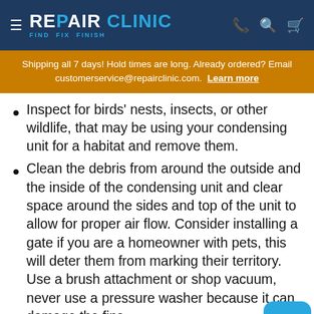REPAIR CLINIC — FIND. FIX. FINISH.
Shipping all 7 days! Hold times are long. Already ordered? Email customerservice@repairclinic.com. Learn more
Inspect for birds' nests, insects, or other wildlife, that may be using your condensing unit for a habitat and remove them.
Clean the debris from around the outside and the inside of the condensing unit and clear space around the sides and top of the unit to allow for proper air flow. Consider installing a gate if you are a homeowner with pets, this will deter them from marking their territory. Use a brush attachment or shop vacuum, never use a pressure washer because it can damage the fins.
Gently use a butter knife to straighten any